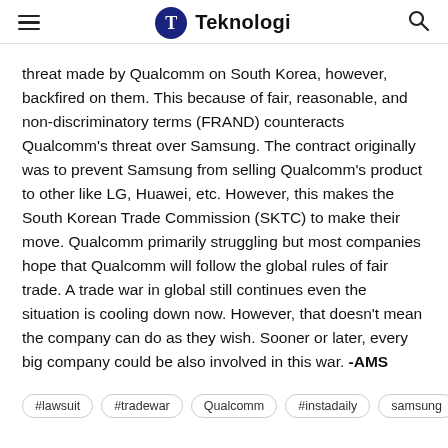Teknologi
threat made by Qualcomm on South Korea, however, backfired on them. This because of fair, reasonable, and non-discriminatory terms (FRAND) counteracts Qualcomm's threat over Samsung. The contract originally was to prevent Samsung from selling Qualcomm's product to other like LG, Huawei, etc. However, this makes the South Korean Trade Commission (SKTC) to make their move. Qualcomm primarily struggling but most companies hope that Qualcomm will follow the global rules of fair trade. A trade war in global still continues even the situation is cooling down now. However, that doesn't mean the company can do as they wish. Sooner or later, every big company could be also involved in this war. -AMS
#lawsuit
#tradewar
Qualcomm
#instadaily
samsung